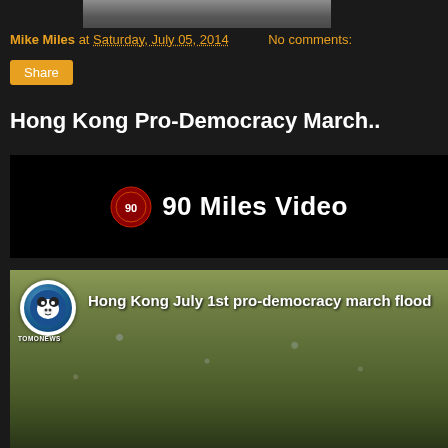[Figure (photo): Partial top image cropped at top of page, dark background with partial image visible in center]
Mike Miles at Saturday, July 05, 2014   No comments:
Share
Hong Kong Pro-Democracy March..
[Figure (screenshot): Video thumbnail with black background showing '90 Miles Video' text with a circular logo on the left]
[Figure (photo): Thumbnail of Hong Kong pro-democracy march with a crowd of people, TomoNews channel icon in top left corner, title text 'Hong Kong July 1st pro-democracy march flood']